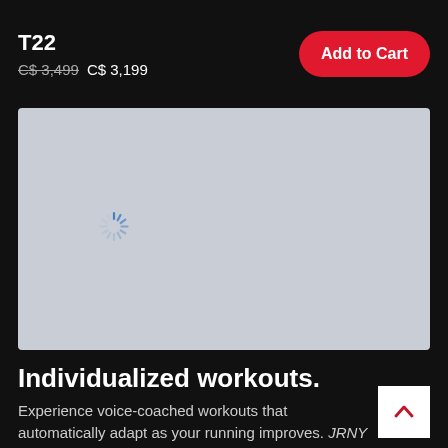T22
C$ 3,499 C$ 3,199
Add to Cart
[Figure (photo): Light gray placeholder image area with a loading spinner icon in the center-left portion]
Individualized workouts.
Experience voice-coached workouts that automatically adapt as your running improves. JRNY Membership required.